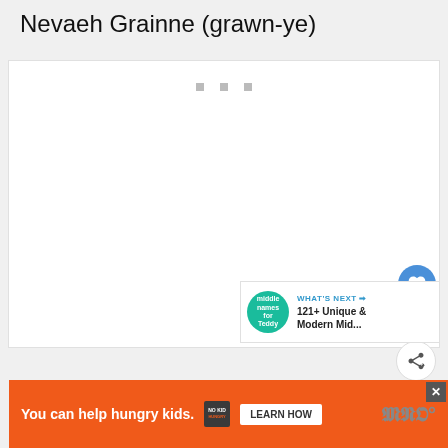Nevaeh Grainne (grawn-ye)
[Figure (screenshot): White content box with three small gray square dots near the top center, indicating a loading or media placeholder state. Contains like button (blue heart icon), count of 1, and share button on the right side.]
WHAT'S NEXT → 121+ Unique & Modern Mid...
You can help hungry kids. NOKID HUNGRY LEARN HOW